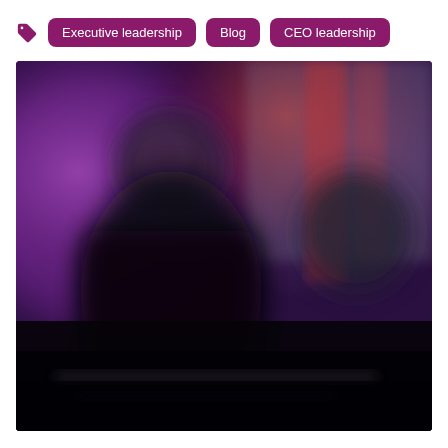Executive leadership  Blog  CEO leadership
[Figure (photo): Blurred photo of two people in a dark setting with purple and red lighting in the background, appearing to be at an event or conference.]